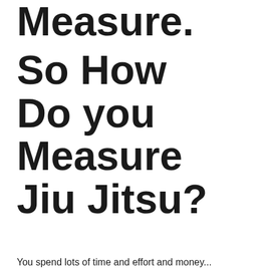Measure. So How Do you Measure Jiu Jitsu?
You spend lots of time and effort and money...